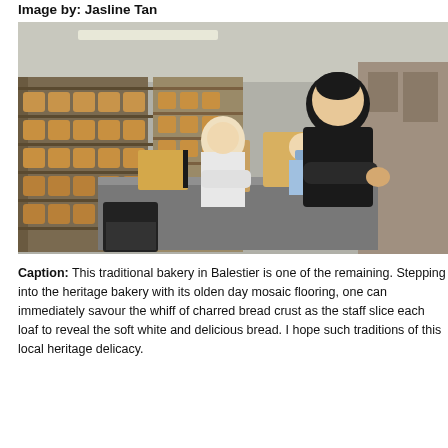Image by: Jasline Tan
[Figure (photo): Workers in a traditional bakery in Balestier slicing bread loaves at a metal work table, with large shelves stacked full of bread loaves in the background. One worker in a black sleeveless shirt bends over a loaf, another in a white shirt works in the middle ground, and a third with a mask is visible further back.]
Caption: This traditional bakery in Balestier is one of the rema... Stepping into the heritage bakery with its olden day mosaic floo... can immediately savour the whiff of charred bread crust as the s... each loaf to reveal the soft white and delicious bread. I hope suc... this local heritage delicacy.